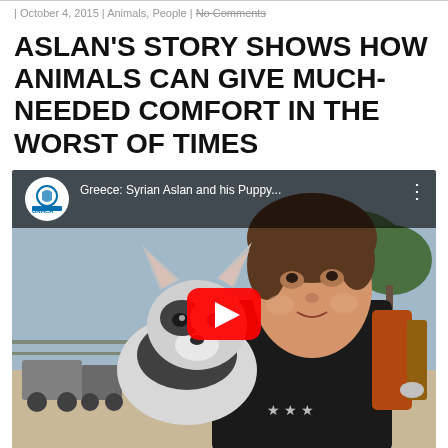| October 4, 2015 | Animals, People | No Comments
ASLAN'S STORY SHOWS HOW ANIMALS CAN GIVE MUCH-NEEDED COMFORT IN THE WORST OF TIMES
[Figure (screenshot): YouTube video thumbnail showing a boy holding a husky puppy. Video title reads 'Greece: Syrian Aslan and his Puppy...' with UNHCR logo. Red YouTube play button in center.]